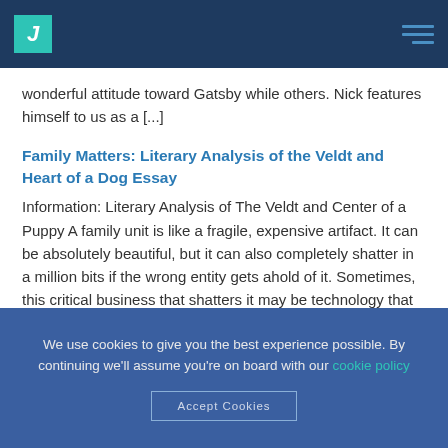J [logo header]
wonderful attitude toward Gatsby while others. Nick features himself to us as a [...]
Family Matters: Literary Analysis of the Veldt and Heart of a Dog Essay
Information: Literary Analysis of The Veldt and Center of a Puppy A family unit is like a fragile, expensive artifact. It can be absolutely beautiful, but it can also completely shatter in a million bits if the wrong entity gets ahold of it. Sometimes, this critical business that shatters it may be technology that has [...]
We use cookies to give you the best experience possible. By continuing we'll assume you're on board with our cookie policy
Accept Cookies